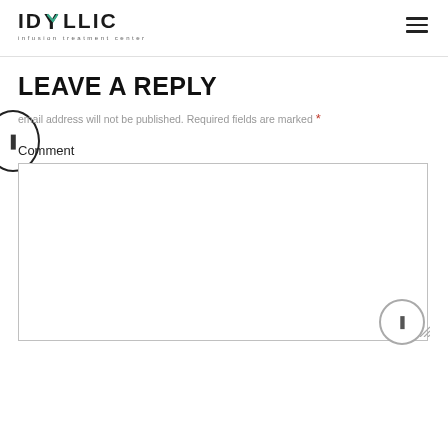IDYLLIC infusion treatment center
LEAVE A REPLY
email address will not be published. Required fields are marked *
Comment